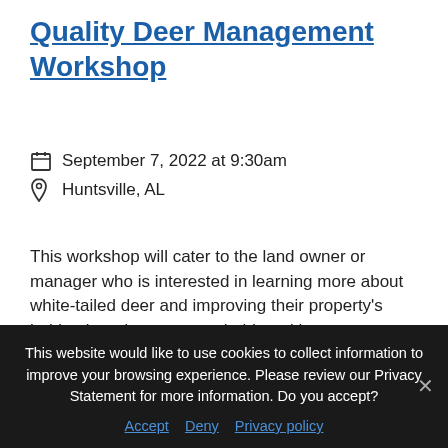Quality Deer Management Workshop
September 7, 2022 at 9:30am
Huntsville, AL
This workshop will cater to the land owner or manager who is interested in learning more about white-tailed deer and improving their property's habitat in order to attract, hold, and harve...
Forestry & Wildlife, Blount County, Cherokee
This website would like to use cookies to collect information to improve your browsing experience. Please review our Privacy Statement for more information. Do you accept?
Accept  Deny  Privacy policy